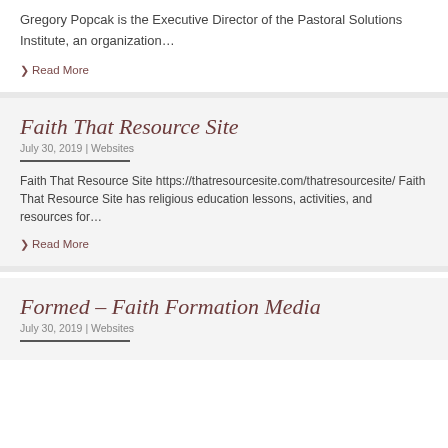Gregory Popcak is the Executive Director of the Pastoral Solutions Institute, an organization…
› Read More
Faith That Resource Site
July 30, 2019 | Websites
Faith That Resource Site https://thatresourcesite.com/thatresourcesite/ Faith That Resource Site has religious education lessons, activities, and resources for…
› Read More
Formed – Faith Formation Media
July 30, 2019 | Websites